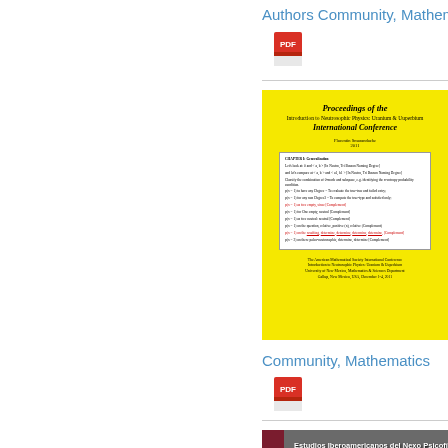Authors Community, Mathem...
[Figure (illustration): PDF icon (red Adobe PDF logo)]
[Figure (photo): Yellow book cover: Proceedings of the Introduction to Neutrosophic Physics: Uranium & Uuperbium International Conference]
Community, Mathematics
[Figure (illustration): PDF icon (red Adobe PDF logo)]
[Figure (photo): Dark grey book cover: Estudios Iberoamericanos del Nexo Psicofisico with red spine label EUGENIA]